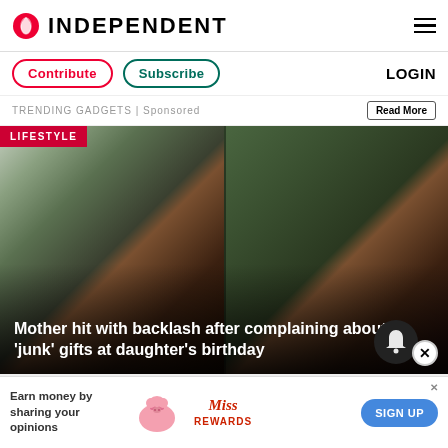INDEPENDENT
Contribute   Subscribe   LOGIN
TRENDING GADGETS | Sponsored   Read More
[Figure (photo): Two side-by-side video stills of a Black woman, one outdoors with a house in background, one with greenery in background. Red LIFESTYLE badge in top left.]
Mother hit with backlash after complaining about ‘junk’ gifts at daughter’s birthday
[Figure (infographic): Advertisement banner: Earn money by sharing your opinions. Miss Rewards pig logo. SIGN UP button.]